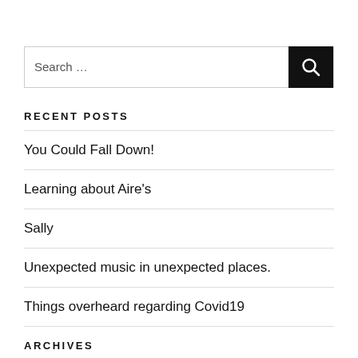[Figure (other): Search box with text input field and dark search button with magnifying glass icon]
RECENT POSTS
You Could Fall Down!
Learning about Aire's
Sally
Unexpected music in unexpected places.
Things overheard regarding Covid19
ARCHIVES